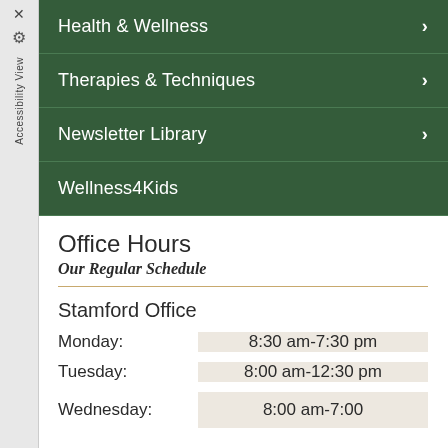Health & Wellness
Therapies & Techniques
Newsletter Library
Wellness4Kids
Office Hours
Our Regular Schedule
Stamford Office
| Day | Hours |
| --- | --- |
| Monday: | 8:30 am-7:30 pm |
| Tuesday: | 8:00 am-12:30 pm |
| Wednesday: | 8:00 am-7:00 pm |